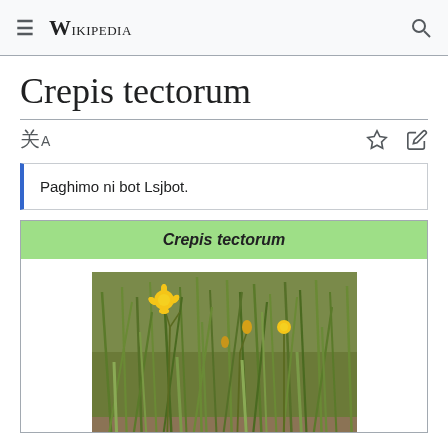Wikipedia
Crepis tectorum
Paghimo ni bot Lsjbot.
[Figure (photo): Crepis tectorum plant with yellow flowers among green grass stalks]
Crepis tectorum